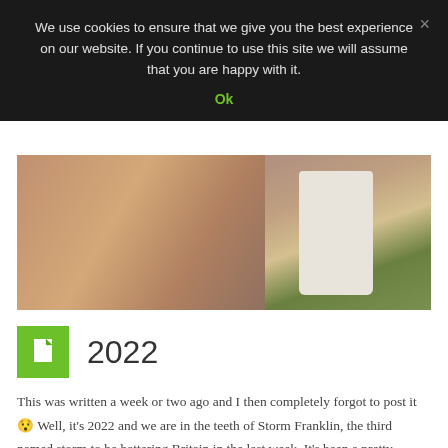We use cookies to ensure that we give you the best experience on our website. If you continue to use this site we will assume that you are happy with it.
Ok
[Figure (photo): A man smiling at the camera outdoors near a trig point pillar on grassy terrain]
2022
This was written a week or two ago and I then completely forgot to post it 😗 Well, it's 2022 and we are in the teeth of Storm Franklin, the third named storm to be battering Britain in the last week. It's been a pretty quiet Winter here at Come walk with me towers after